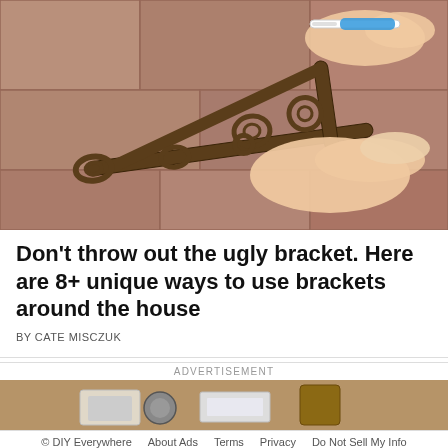[Figure (photo): Hands holding and cleaning a decorative ornate iron bracket on a brick/paver surface, using a toothbrush.]
Don't throw out the ugly bracket. Here are 8+ unique ways to use brackets around the house
BY CATE MISCZUK
ADVERTISEMENT
[Figure (photo): Advertisement image strip showing workshop/desk items.]
© DIY Everywhere   About Ads   Terms   Privacy   Do Not Sell My Info